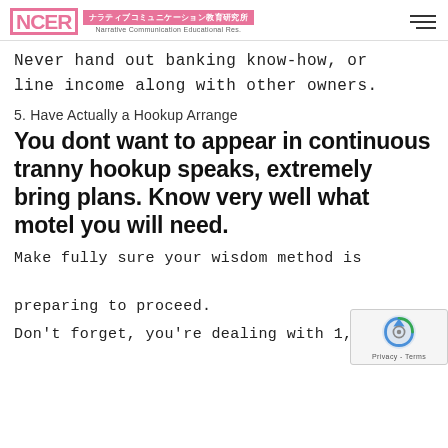NCER ナラティブコミュニケーション教育研究所 Narrative Communication Educational Res.
Never hand out banking know-how, or line income along with other owners.
5. Have Actually a Hookup Arrange
You dont want to appear in continuous tranny hookup speaks, extremely bring plans. Know very well what motel you will need.
Make fully sure your wisdom method is preparing to proceed.
Don't forget, you're dealing with 1,00